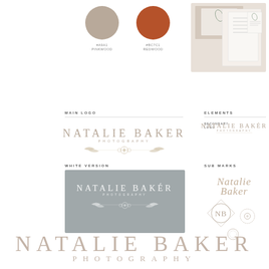[Figure (infographic): Brand identity sheet for Natalie Baker Photography showing color swatches (taupe/pinkish and terracotta/orange), sample stationery/invitation cards, main logo with floral illustration, secondary logo, white version on slate background, sub-marks including script signature, monogram NB badge, and small wreath mark. Bottom of page shows large elegant logotype NATALIE BAKER PHOTOGRAPHY.]
NATALIE BAKER
PHOTOGRAPHY